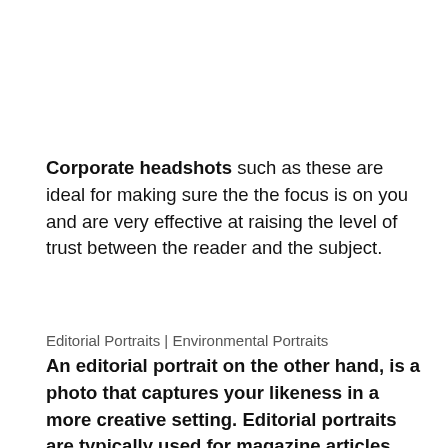Corporate headshots such as these are ideal for making sure the the focus is on you and are very effective at raising the level of trust between the reader and the subject.
Editorial Portraits | Environmental Portraits
An editorial portrait on the other hand, is a photo that captures your likeness in a more creative setting. Editorial portraits are typically used for magazine articles, blog posts, or other marketing materials. These photos are less formal than